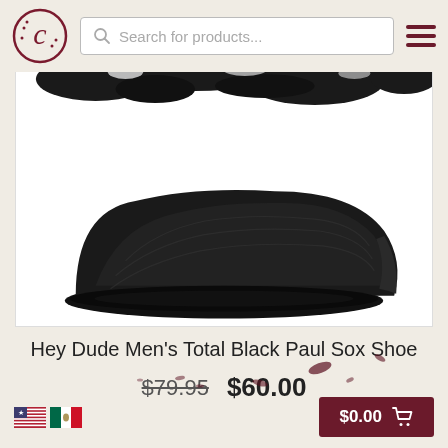Search for products...
[Figure (photo): A Hey Dude Men's Total Black Paul Sox Shoe shown from the side against a white background, with a decorative black splatter effect at the top of the image.]
Hey Dude Men's Total Black Paul Sox Shoe
$79.95  $60.00
$0.00